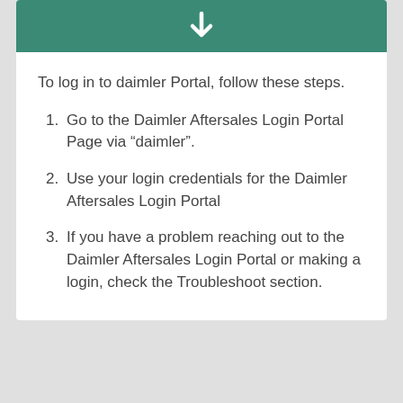[Figure (illustration): White downward arrow icon on teal/green background header bar]
To log in to daimler Portal, follow these steps.
Go to the Daimler Aftersales Login Portal Page via “daimler”.
Use your login credentials for the Daimler Aftersales Login Portal
If you have a problem reaching out to the Daimler Aftersales Login Portal or making a login, check the Troubleshoot section.